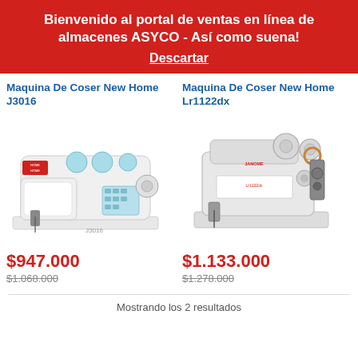Bienvenido al portal de ventas en línea de almacenes ASYCO - Así como suena!
Descartar
Maquina De Coser New Home J3016
[Figure (photo): Sewing machine Maquina De Coser New Home J3016, white with blue accents]
$947.000
$1.068.000
Maquina De Coser New Home Lr1122dx
[Figure (photo): Sewing machine Maquina De Coser New Home Lr1122dx, white industrial style]
$1.133.000
$1.278.000
Mostrando los 2 resultados